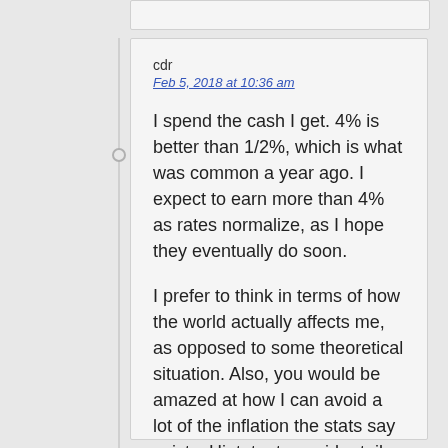cdr
Feb 5, 2018 at 10:36 am
I spend the cash I get. 4% is better than 1/2%, which is what was common a year ago. I expect to earn more than 4% as rates normalize, as I hope they eventually do soon.
I prefer to think in terms of how the world actually affects me, as opposed to some theoretical situation. Also, you would be amazed at how I can avoid a lot of the inflation the stats say exists. Hint, try to avoid retail prices and shop around. Think changing consumer preferences and